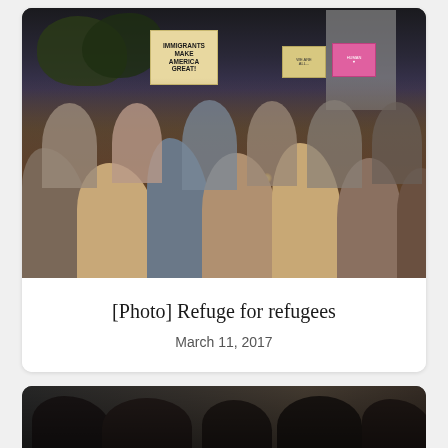[Figure (photo): Crowd of people at an outdoor protest/vigil at dusk, holding candles. A prominent sign reads 'IMMIGRANTS MAKE AMERICA GREAT!' in the center. Other signs visible including a pink sign on the right. Buildings and trees visible in the background.]
[Photo] Refuge for refugees
March 11, 2017
[Figure (photo): Partial view of a second photo at the bottom showing dark figures, partially cropped.]